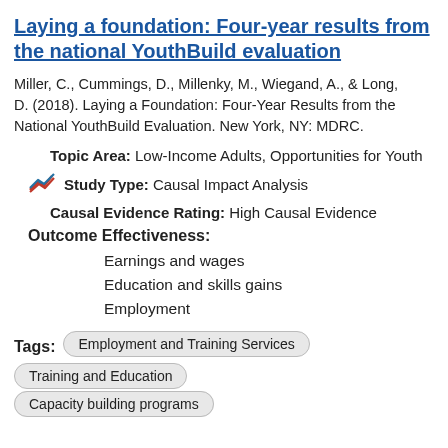Laying a foundation: Four-year results from the national YouthBuild evaluation
Miller, C., Cummings, D., Millenky, M., Wiegand, A., & Long, D. (2018). Laying a Foundation: Four-Year Results from the National YouthBuild Evaluation. New York, NY: MDRC.
Topic Area: Low-Income Adults, Opportunities for Youth
Study Type: Causal Impact Analysis
Causal Evidence Rating: High Causal Evidence
Outcome Effectiveness:
Earnings and wages
Education and skills gains
Employment
Tags: Employment and Training Services | Training and Education | Capacity building programs